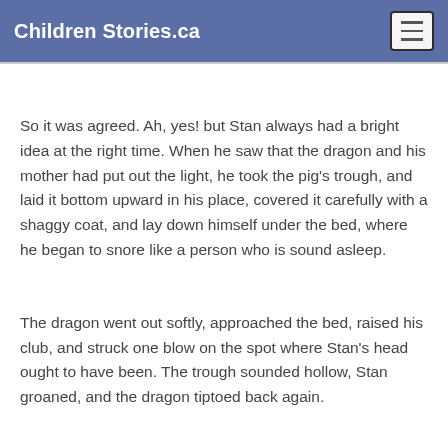Children Stories.ca
So it was agreed. Ah, yes! but Stan always had a bright idea at the right time. When he saw that the dragon and his mother had put out the light, he took the pig's trough, and laid it bottom upward in his place, covered it carefully with a shaggy coat, and lay down himself under the bed, where he began to snore like a person who is sound asleep.
The dragon went out softly, approached the bed, raised his club, and struck one blow on the spot where Stan's head ought to have been. The trough sounded hollow, Stan groaned, and the dragon tiptoed back again.